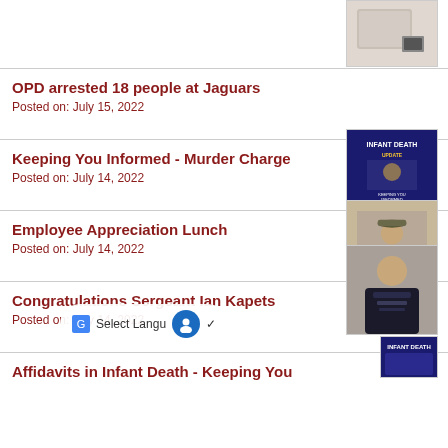[Figure (photo): Thumbnail image at top right, partially visible, appears to be a mug or similar object with a QR code]
OPD arrested 18 people at Jaguars
Posted on: July 15, 2022
Keeping You Informed - Murder Charge
Posted on: July 14, 2022
[Figure (photo): Blue poster with text INFANT DEATH UPDATE and KEEPING YOU INFORMED, Orlando Police]
Employee Appreciation Lunch
Posted on: July 14, 2022
[Figure (photo): Police officer in uniform sitting at a table with food]
Congratulations Sergeant Ian Kapets
Posted on: July 14, 2022
[Figure (photo): Man in police uniform standing, partial view]
Affidavits in Infant Death - Keeping You
[Figure (photo): INFANT DEATH thumbnail, partially visible at bottom right]